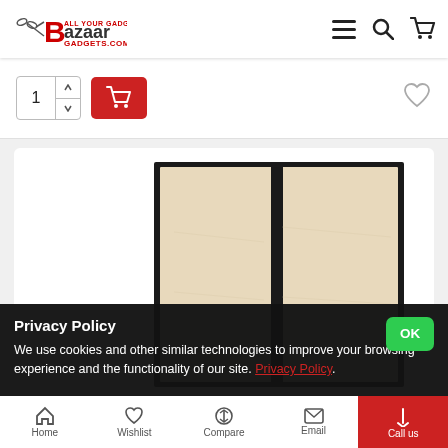Bazaar Gadgets - All Your Gadget Needs - bazaargadgets.com
[Figure (screenshot): E-commerce product page showing a wardrobe/cabinet product with two light beige panels in black frame. The page has a quantity selector with value 1 and a red add-to-cart button, plus a wishlist heart icon.]
Privacy Policy
We use cookies and other similar technologies to improve your browsing experience and the functionality of our site. Privacy Policy.
Home  Wishlist  Compare  Email  Call us